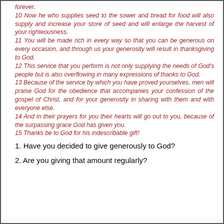10 Now he who supplies seed to the sower and bread for food will also supply and increase your store of seed and will enlarge the harvest of your righteousness.
11 You will be made rich in every way so that you can be generous on every occasion, and through us your generosity will result in thanksgiving to God.
12 This service that you perform is not only supplying the needs of God's people but is also overflowing in many expressions of thanks to God.
13 Because of the service by which you have proved yourselves, men will praise God for the obedience that accompanies your confession of the gospel of Christ, and for your generosity in sharing with them and with everyone else.
14 And in their prayers for you their hearts will go out to you, because of the surpassing grace God has given you.
15 Thanks be to God for his indescribable gift!
1. Have you decided to give generously to God?
2. Are you giving that amount regularly?